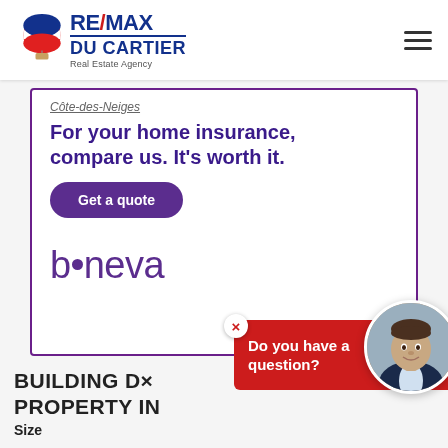[Figure (logo): RE/MAX DU CARTIER Real Estate Agency logo with red/blue text and RE/MAX balloon icon]
[Figure (screenshot): Beneva insurance advertisement: 'Côte-des-Neiges / For your home insurance, compare us. It's worth it. / Get a quote / beneva']
BUILDING D... PROPERTY IN...
Size
[Figure (infographic): Red chat popup with agent photo: 'Do you have a question?']